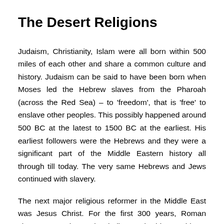The Desert Religions
Judaism, Christianity, Islam were all born within 500 miles of each other and share a common culture and history. Judaism can be said to have been born when Moses led the Hebrew slaves from the Pharoah (across the Red Sea) – to 'freedom', that is 'free' to enslave other peoples. This possibly happened around 500 BC at the latest to 1500 BC at the earliest. His earliest followers were the Hebrews and they were a significant part of the Middle Eastern history all through till today. The very same Hebrews and Jews continued with slavery.
The next major religious reformer in the Middle East was Jesus Christ. For the first 300 years, Roman slaves were the major believers in his teachings. Emperor Constantine